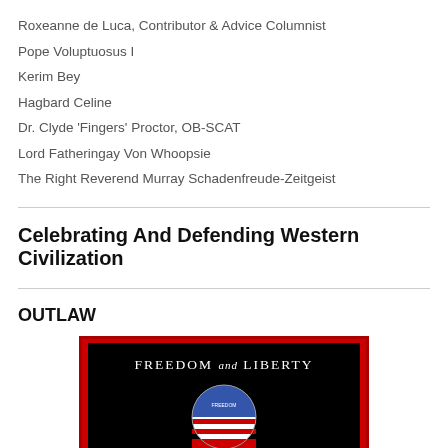Roxeanne de Luca, Contributor & Advice Columnist
Pope Voluptuosus I
Kerim Bey
Hagbard Celine
Dr. Clyde 'Fingers' Proctor, OB-SCAT
Lord Fatheringay Von Whoopsie
The Right Reverend Murray Schadenfreude-Zeitgeist
Celebrating And Defending Western Civilization
OUTLAW
[Figure (illustration): Book cover image with red border and black background. Text reads 'FREEDOM AND LIBERTY' with a circular badge/seal below featuring red and white stripes and a blue top half with a small figure/emblem.]